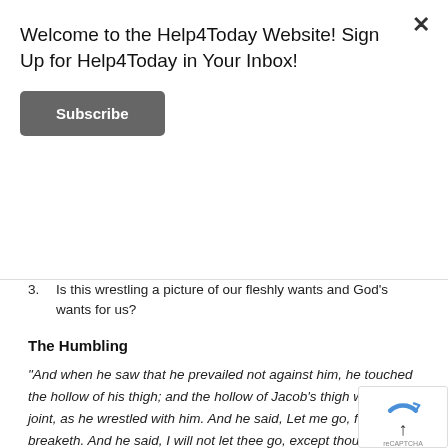Welcome to the Help4Today Website! Sign Up for Help4Today in Your Inbox!
Subscribe
3.  Is this wrestling a picture of our fleshly wants and God's wants for us?
The Humbling
“And when he saw that he prevailed not against him, he touched the hollow of his thigh; and the hollow of Jacob’s thigh was out of joint, as he wrestled with him. And he said, Let me go, for the day breaketh. And he said, I will not let thee go, except thou bless me.” – Genesis 32:25-26
We have got to give it to Jacob for being so resilient. He had the gumption to fight, but God put him in a position of humility whe… touched the hollow of Jacob’s thigh. Sometimes, God puts us in position where we must humble ourselves.